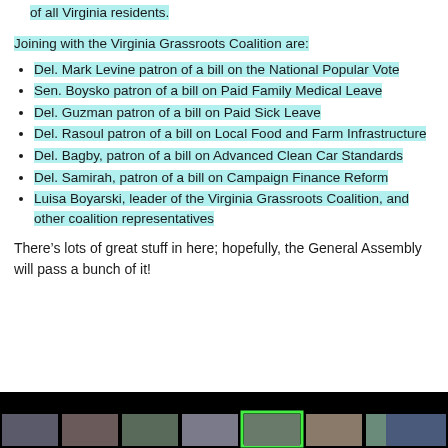of all Virginia residents.
Joining with the Virginia Grassroots Coalition are:
Del. Mark Levine patron of a bill on the National Popular Vote
Sen. Boysko patron of a bill on Paid Family Medical Leave
Del. Guzman patron of a bill on Paid Sick Leave
Del. Rasoul patron of a bill on Local Food and Farm Infrastructure
Del. Bagby, patron of a bill on Advanced Clean Car Standards
Del. Samirah, patron of a bill on Campaign Finance Reform
Luisa Boyarski, leader of the Virginia Grassroots Coalition, and other coalition representatives
There’s lots of great stuff in here; hopefully, the General Assembly will pass a bunch of it!
[Figure (photo): Photo strip at bottom showing small thumbnail photos of people, one highlighted with a green border, against a black background.]